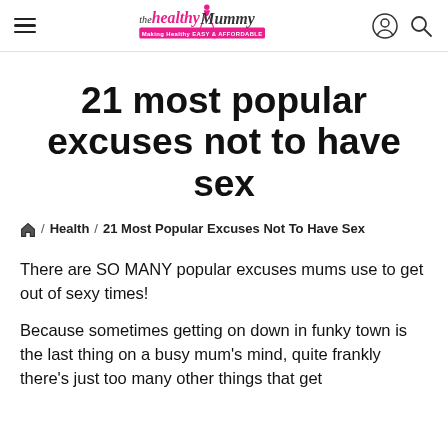the healthy Mummy — Making Healthy EASY & AFFORDABLE
21 most popular excuses not to have sex
🏠 / Health / 21 Most Popular Excuses Not To Have Sex
There are SO MANY popular excuses mums use to get out of sexy times!
Because sometimes getting on down in funky town is the last thing on a busy mum's mind, quite frankly there's just too many other things that get